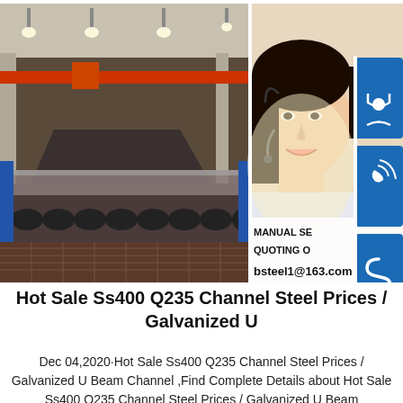[Figure (photo): Composite image: left side shows a steel manufacturing facility interior with conveyor rollers and steel sheets; right side shows a smiling woman with a headset (customer service rep) overlaid with blue icon buttons (headset icon, phone icon, Skype icon) and text 'MANUAL SE...', 'QUOTING O...', 'bsteel1@163.com']
Hot Sale Ss400 Q235 Channel Steel Prices / Galvanized U
Dec 04,2020·Hot Sale Ss400 Q235 Channel Steel Prices / Galvanized U Beam Channel ,Find Complete Details about Hot Sale Ss400 Q235 Channel Steel Prices / Galvanized U Beam